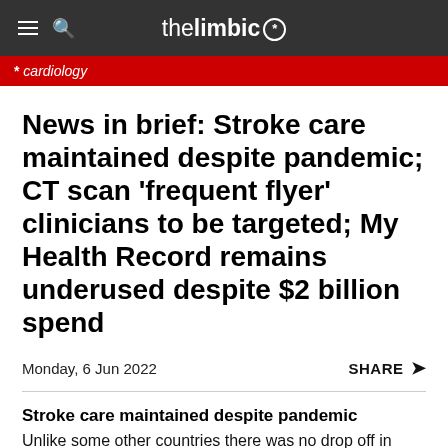the limbic*
* cardiology
News in brief: Stroke care maintained despite pandemic; CT scan ‘frequent flyer’ clinicians to be targeted; My Health Record remains underused despite $2 billion spend
Monday, 6 Jun 2022
SHARE
Stroke care maintained despite pandemic
Unlike some other countries there was no drop off in